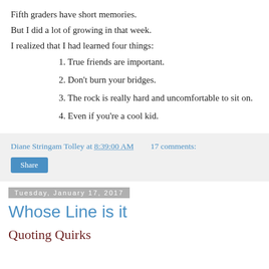Fifth graders have short memories.
But I did a lot of growing in that week.
I realized that I had learned four things:
1. True friends are important.
2. Don't burn your bridges.
3. The rock is really hard and uncomfortable to sit on.
4. Even if you're a cool kid.
Diane Stringam Tolley at 8:39:00 AM    17 comments:
Share
Tuesday, January 17, 2017
Whose Line is it
Quoting Quirks